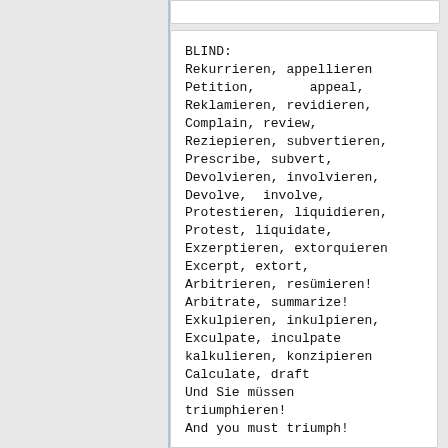BLIND:
Rekurrieren, appellieren
Petition,       appeal,
Reklamieren, revidieren,
Complain, review,
Reziepieren, subvertieren,
Prescribe, subvert,
Devolvieren, involvieren,
Devolve,  involve,
Protestieren, liquidieren,
Protest, liquidate,
Exzerptieren, extorquieren
Excerpt, extort,
Arbitrieren, resümieren!
Arbitrate, summarize!
Exkulpieren, inkulpieren,
Exculpate, inculpate
kalkulieren, konzipieren
Calculate, draft
Und Sie müssen
triumphieren!
And you must triumph!